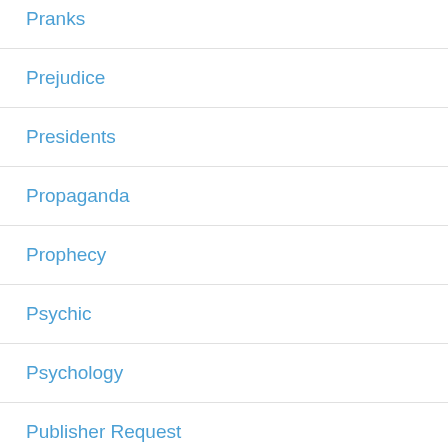Pranks
Prejudice
Presidents
Propaganda
Prophecy
Psychic
Psychology
Publisher Request
Puzzles
Quarto Publishing